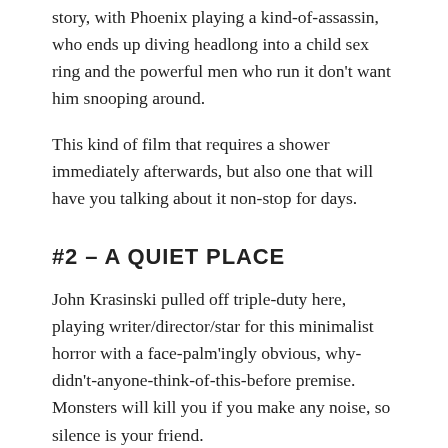story, with Phoenix playing a kind-of-assassin, who ends up diving headlong into a child sex ring and the powerful men who run it don't want him snooping around.
This kind of film that requires a shower immediately afterwards, but also one that will have you talking about it non-stop for days.
#2 – A QUIET PLACE
John Krasinski pulled off triple-duty here, playing writer/director/star for this minimalist horror with a face-palm'ingly obvious, why-didn't-anyone-think-of-this-before premise. Monsters will kill you if you make any noise, so silence is your friend.
The movie forced audiences to let their popcorn go uneaten as the fear of making any noise spilled into